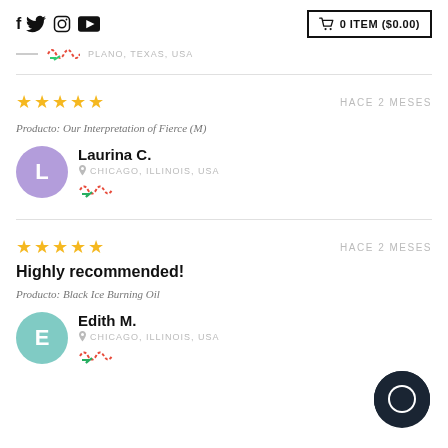f Twitter Instagram YouTube | 0 ITEM ($0.00)
PLANO, TEXAS, USA
★★★★★  HACE 2 MESES
Producto: Our Interpretation of Fierce (M)
Laurina C. — CHICAGO, ILLINOIS, USA
★★★★★  HACE 2 MESES
Highly recommended!
Producto: Black Ice Burning Oil
Edith M. — CHICAGO, ILLINOIS, USA